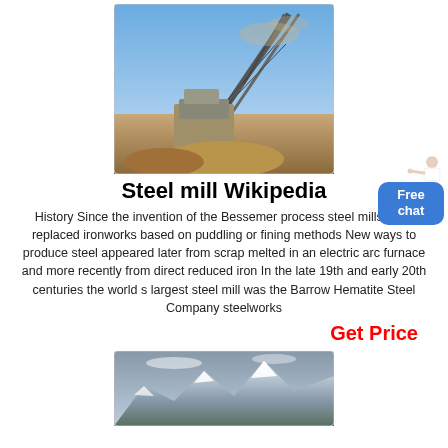[Figure (photo): Industrial steel mill / mining equipment with conveyor belts against a blue sky, dusty environment]
Steel mill Wikipedia
History Since the invention of the Bessemer process steel mills have replaced ironworks based on puddling or fining methods New ways to produce steel appeared later from scrap melted in an electric arc furnace and more recently from direct reduced iron In the late 19th and early 20th centuries the world s largest steel mill was the Barrow Hematite Steel Company steelworks
Get Price
[Figure (photo): Snow-capped mountains under cloudy sky, landscape photo]